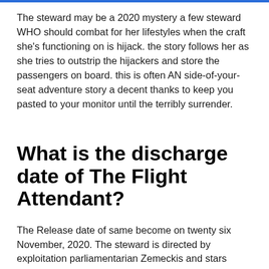The steward may be a 2020 mystery a few steward WHO should combat for her lifestyles when the craft she's functioning on is hijack. the story follows her as she tries to outstrip the hijackers and store the passengers on board. this is often AN side-of-your-seat adventure story a decent thanks to keep you pasted to your monitor until the terribly surrender.
What is the discharge date of The Flight Attendant?
The Release date of same become on twenty six November, 2020. The steward is directed by exploitation parliamentarian Zemeckis and stars